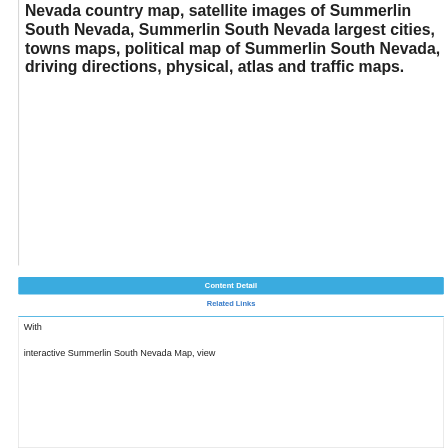Nevada country map, satellite images of Summerlin South Nevada, Summerlin South Nevada largest cities, towns maps, political map of Summerlin South Nevada, driving directions, physical, atlas and traffic maps.
Content Detail
Related Links
With interactive Summerlin South Nevada Map, view